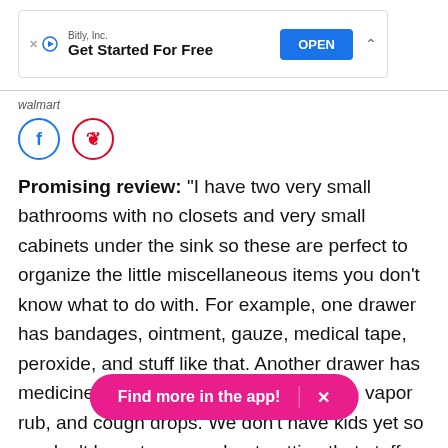[Figure (screenshot): Advertisement banner for Bitly, Inc. with 'Get Started For Free' text and blue OPEN button]
walmart
[Figure (infographic): Facebook and Pinterest social media sharing icons (circular buttons)]
Promising review: "I have two very small bathrooms with no closets and very small cabinets under the sink so these are perfect to organize the little miscellaneous items you don't know what to do with. For example, one drawer has bandages, ointment, gauze, medical tape, peroxide, and stuff like that. Another drawer has medicine like allergy, cold, sinus, aspirin, vapor rub, and cough drops. We don't have kids yet so we don't have to worry about putting that stuff up. Thes can't really be organized but now can at least be easily
[Figure (infographic): Pink app promotion pill/button reading 'Find more in the app!' with an X close button]